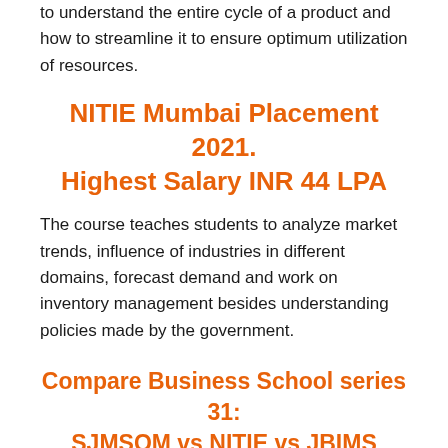to understand the entire cycle of a product and how to streamline it to ensure optimum utilization of resources.
NITIE Mumbai Placement 2021. Highest Salary INR 44 LPA
The course teaches students to analyze market trends, influence of industries in different domains, forecast demand and work on inventory management besides understanding policies made by the government.
Compare Business School series 31: SJMSOM vs NITIE vs JBIMS
MBA Programme in Operations & Supply Chain Management is designed to expand your knowledge